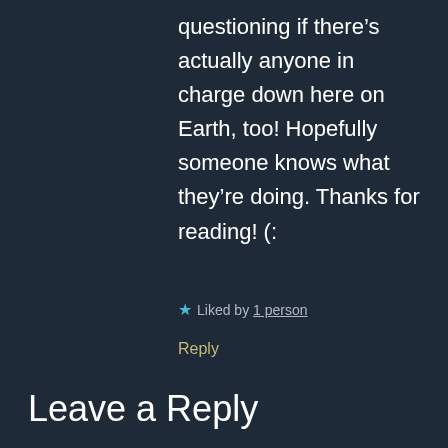questioning if there’s actually anyone in charge down here on Earth, too! Hopefully someone knows what they’re doing. Thanks for reading! (:
★ Liked by 1 person
Reply
Leave a Reply